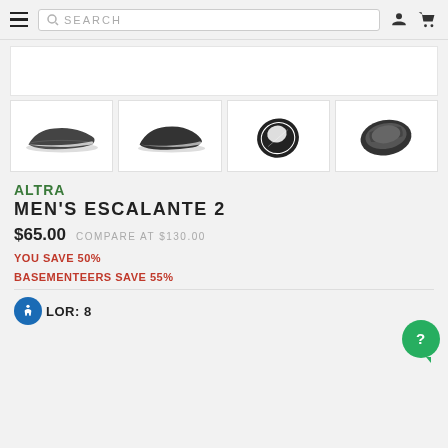SEARCH
[Figure (photo): Main product image area (white box, partially visible)]
[Figure (photo): Thumbnail 1: Altra Men's Escalante 2 shoe - side view, dark grey]
[Figure (photo): Thumbnail 2: Altra Men's Escalante 2 shoe - side view angled, dark grey]
[Figure (photo): Thumbnail 3: Altra Men's Escalante 2 shoe - sole view]
[Figure (photo): Thumbnail 4: Altra Men's Escalante 2 shoe - top down view]
ALTRA
MEN'S ESCALANTE 2
$65.00  COMPARE AT $130.00
YOU SAVE 50%
BASEMENTEERS SAVE 55%
COLOR: 8